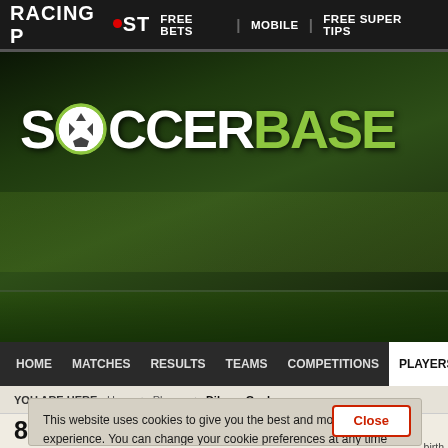[Figure (screenshot): Racing Post website top navigation bar with logo, FREE BETS, MOBILE, FREE SUPER TIPS links]
[Figure (logo): SoccerBase logo on dark green stadium background — SOCCER in white, BASE in green, with soccer ball replacing O]
HOME | MATCHES | RESULTS | TEAMS | COMPETITIONS | PLAYERS
YOU ARE HERE: Home > Players > Dilaver Guclu
86. Dilaver Guclu
This website uses cookies to give you the best and most relevant experience. You can change your cookie preferences at any time and find out more about our cookie policy by following this link.

By continuing to use this site you are giving consent to our use of cookies on Racing Post websites in accordance with our cookie policy.